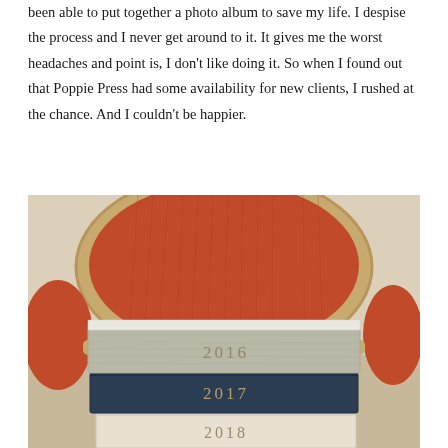been able to put together a photo album to save my life. I despise the process and I never get around to it. It gives me the worst headaches and point is, I don't like doing it. So when I found out that Poppie Press had some availability for new clients, I rushed at the chance. And I couldn't be happier.
[Figure (photo): A stack of three photo albums labeled 2016, 2017, and 2018 resting on the seat of an ornate chair with a large rounded orange/red velvet back and a gilded wood frame.]